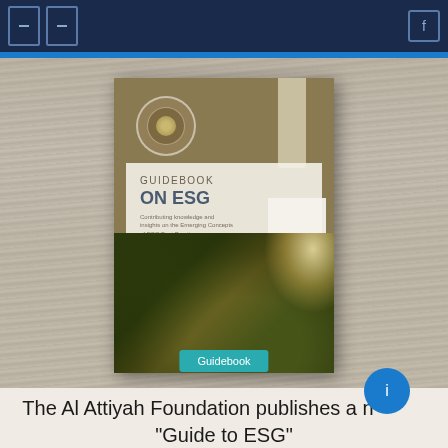Navigation bar with icons and search
[Figure (photo): A book titled 'Guidebook ON ESG' with a tan/khaki cover featuring a circular logo, placed on a wooden surface. The book cover shows a photo of trees viewed from below with sunlight. Text on cover reads 'GUIDEBOOK ON ESG Contributing knowledge and insights on the Emerging Concepts of ESG Best Practices'.]
Guidebook
The Al Attiyah Foundation publishes a new "Guide to ESG"